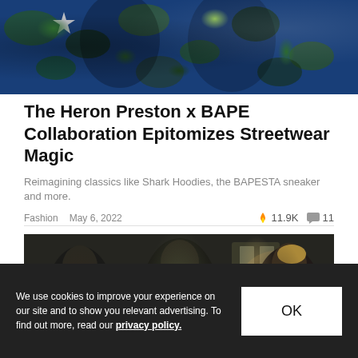[Figure (photo): Two people wearing BAPE camo streetwear with blue and green camouflage patterns and star motifs]
The Heron Preston x BAPE Collaboration Epitomizes Streetwear Magic
Reimagining classics like Shark Hoodies, the BAPESTA sneaker and more.
Fashion  May 6, 2022  🔥 11.9K  💬 11
[Figure (photo): Three young men in a moody industrial setting wearing colorful patterned streetwear]
We use cookies to improve your experience on our site and to show you relevant advertising. To find out more, read our privacy policy.